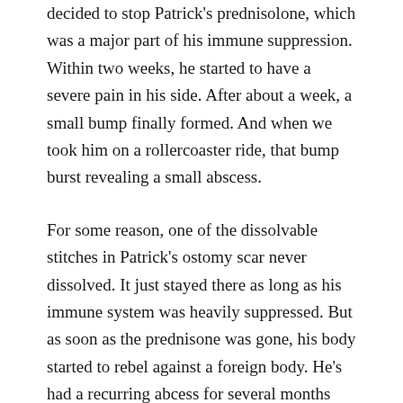decided to stop Patrick's prednisolone, which was a major part of his immune suppression. Within two weeks, he started to have a severe pain in his side. After about a week, a small bump finally formed. And when we took him on a rollercoaster ride, that bump burst revealing a small abscess.
For some reason, one of the dissolvable stitches in Patrick's ostomy scar never dissolved. It just stayed there as long as his immune system was heavily suppressed. But as soon as the prednisone was gone, his body started to rebel against a foreign body. He's had a recurring abcess for several months now. Just a little pimple that would rise and fall. But it hurt like crazy. And that's what finally got us here.
So here we are. An hour after Patrick went back, the